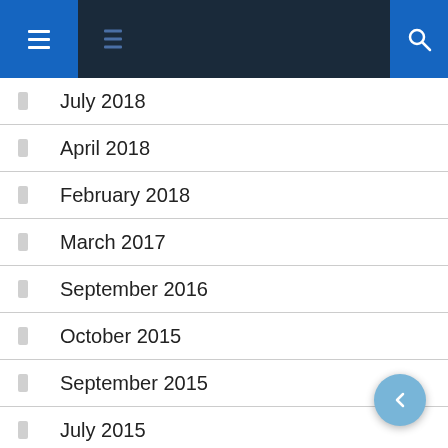Navigation header with menu and search icons
July 2018
April 2018
February 2018
March 2017
September 2016
October 2015
September 2015
July 2015
April 2015
January 2015 (partial)